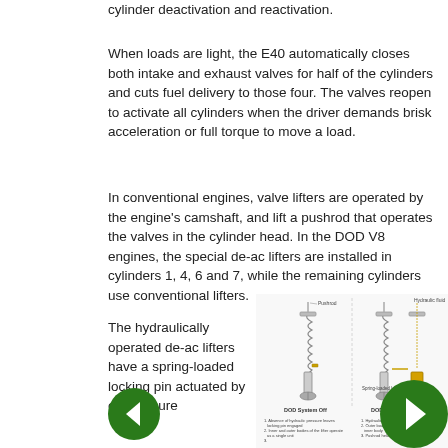cylinder deactivation and reactivation.
When loads are light, the E40 automatically closes both intake and exhaust valves for half of the cylinders and cuts fuel delivery to those four. The valves reopen to activate all cylinders when the driver demands brisk acceleration or full torque to move a load.
In conventional engines, valve lifters are operated by the engine's camshaft, and lift a pushrod that operates the valves in the cylinder head. In the DOD V8 engines, the special de-ac lifters are installed in cylinders 1, 4, 6 and 7, while the remaining cylinders use conventional lifters.
The hydraulically operated de-ac lifters have a spring-loaded locking pin actuated by oil pressure
[Figure (engineering-diagram): Diagram showing DOD System Off (left) and DOD System On (right) with labeled de-ac lifter components including pushrod, hydraulic fluid, spring-loaded locking pin, and explanatory numbered callouts.]
[Figure (other): Left navigation arrow button (green circle with white left arrow)]
[Figure (other): Right navigation arrow button (green circle with white right arrow)]